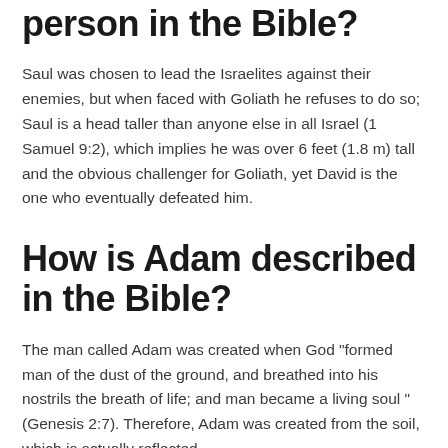person in the Bible?
Saul was chosen to lead the Israelites against their enemies, but when faced with Goliath he refuses to do so; Saul is a head taller than anyone else in all Israel (1 Samuel 9:2), which implies he was over 6 feet (1.8 m) tall and the obvious challenger for Goliath, yet David is the one who eventually defeated him.
How is Adam described in the Bible?
The man called Adam was created when God "formed man of the dust of the ground, and breathed into his nostrils the breath of life; and man became a living soul " (Genesis 2:7). Therefore, Adam was created from the soil, which is actually reflected